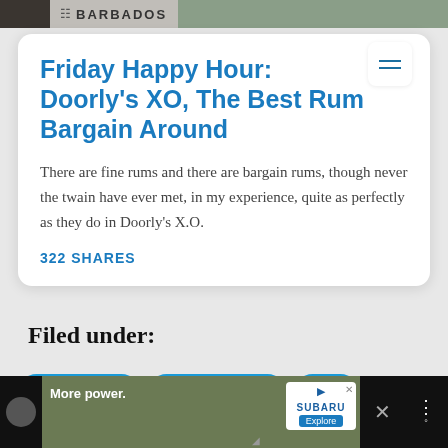BARBADOS
Friday Happy Hour: Doorly's XO, The Best Rum Bargain Around
There are fine rums and there are bargain rums, though never the twain have ever met, in my experience, quite as perfectly as they do in Doorly's X.O.
322 SHARES
Filed under:
happy hour
overproof rum
rum
[Figure (photo): Advertisement banner for Subaru showing a yellow SUV off-road with text 'More power.' and Subaru Explore button]